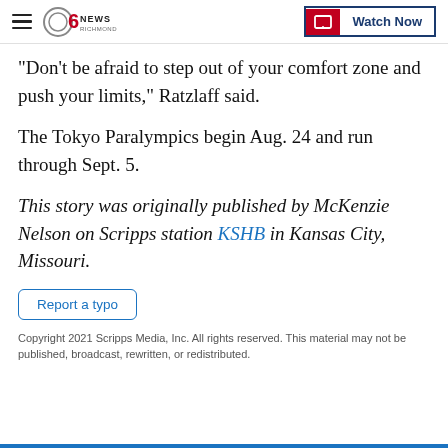CBS 6 News Richmond | Watch Now
"Don't be afraid to step out of your comfort zone and push your limits," Ratzlaff said.
The Tokyo Paralympics begin Aug. 24 and run through Sept. 5.
This story was originally published by McKenzie Nelson on Scripps station KSHB in Kansas City, Missouri.
Report a typo
Copyright 2021 Scripps Media, Inc. All rights reserved. This material may not be published, broadcast, rewritten, or redistributed.